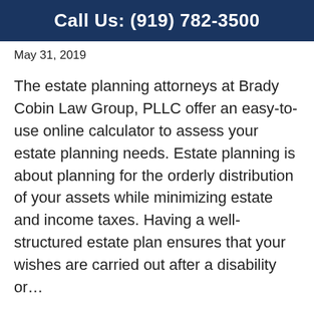Call Us: (919) 782-3500
May 31, 2019
The estate planning attorneys at Brady Cobin Law Group, PLLC offer an easy-to-use online calculator to assess your estate planning needs. Estate planning is about planning for the orderly distribution of your assets while minimizing estate and income taxes. Having a well-structured estate plan ensures that your wishes are carried out after a disability or...
Read More